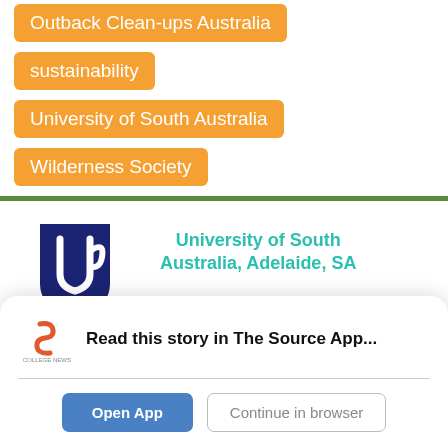Outback Clean-ups Australia
sustainability
University of South Australia
Wilderness Society
[Figure (logo): University of South Australia shield logo in dark blue]
University of South Australia, Adelaide, SA
University of South Australia
[Figure (logo): College News Source app logo - stylized S in orange/grey]
Read this story in The Source App...
Open App
Continue in browser